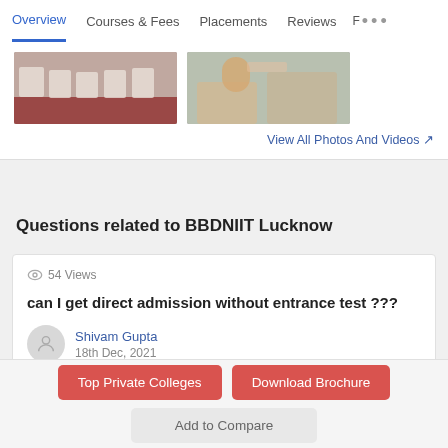Overview  Courses & Fees  Placements  Reviews  F...
[Figure (photo): Two partial photos: left shows people seated in an auditorium/hall setting; right shows a person in a checkered shirt in an outdoor setting.]
View All Photos And Videos ↗
Questions related to BBDNIIT Lucknow
👁 54 Views
can I get direct admission without entrance test ???
Shivam Gupta
18th Dec, 2021
Dear Shalini,
Top Private Colleges
Download Brochure
Add to Compare